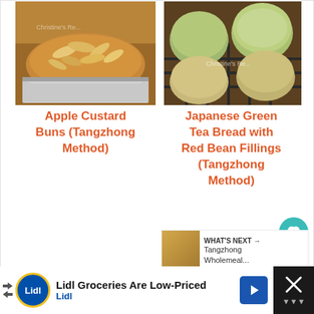[Figure (photo): Photo of Apple Custard Buns with almond slices on top in a foil tray]
[Figure (photo): Photo of Japanese Green Tea Bread rolls with Red Bean Fillings on a cooling rack]
Apple Custard Buns (Tangzhong Method)
Japanese Green Tea Bread with Red Bean Fillings (Tangzhong Method)
34
WHAT'S NEXT → Tangzhong Wholemeal...
[Figure (advertisement): Lidl Groceries Are Low-Priced advertisement banner with Lidl logo and navigation arrow icon]